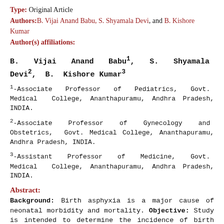Type: Original Article
Authors: B. Vijai Anand Babu, S. Shyamala Devi, and B. Kishore Kumar
Author(s) affiliations:
B. Vijai Anand Babu1, S. Shyamala Devi2, B. Kishore Kumar3
1-Associate Professor of Pediatrics, Govt. Medical College, Ananthapuramu, Andhra Pradesh, INDIA.
2-Associate Professor of Gynecology and Obstetrics, Govt. Medical College, Ananthapuramu, Andhra Pradesh, INDIA.
3-Assistant Professor of Medicine, Govt. Medical College, Ananthapuramu, Andhra Pradesh, INDIA.
Abstract:
Background: Birth asphyxia is a major cause of neonatal morbidity and mortality. Objective: Study is intended to determine the incidence of birth asphyxia and its immediate outcome in relation to risk factors and complications. Materials and Methods: Cross sectional